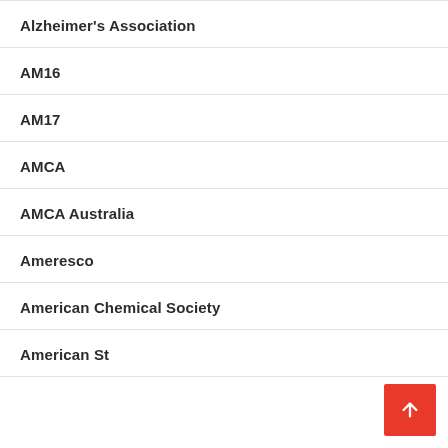Alzheimer's Association
AM16
AM17
AMCA
AMCA Australia
Ameresco
American Chemical Society
American St